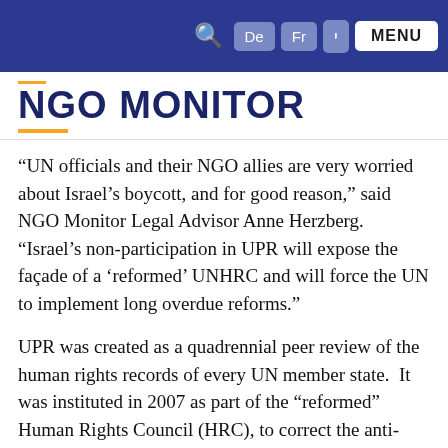NGO MONITOR — navigation bar with search, De, Fr, Hebrew, MENU buttons
NGO MONITOR
“UN officials and their NGO allies are very worried about Israel’s boycott, and for good reason,” said NGO Monitor Legal Advisor Anne Herzberg. “Israel’s non-participation in UPR will expose the façade of a ‘reformed’ UNHRC and will force the UN to implement long overdue reforms.”
UPR was created as a quadrennial peer review of the human rights records of every UN member state.  It was instituted in 2007 as part of the “reformed” Human Rights Council (HRC), to correct the anti-Israel politicization and selectivity plaguing UN human rights frameworks. However, the reform failed, and resolutions against Israel at the HRC have far outnumbered those issued against